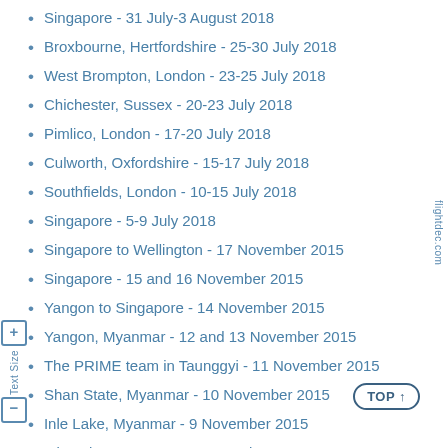Singapore - 31 July-3 August 2018
Broxbourne, Hertfordshire - 25-30 July 2018
West Brompton, London - 23-25 July 2018
Chichester, Sussex - 20-23 July 2018
Pimlico, London - 17-20 July 2018
Culworth, Oxfordshire - 15-17 July 2018
Southfields, London - 10-15 July 2018
Singapore - 5-9 July 2018
Singapore to Wellington - 17 November 2015
Singapore - 15 and 16 November 2015
Yangon to Singapore - 14 November 2015
Yangon, Myanmar - 12 and 13 November 2015
The PRIME team in Taunggyi - 11 November 2015
Shan State, Myanmar - 10 November 2015
Inle Lake, Myanmar - 9 November 2015
Inle Lake, Myanmar - 8 November 2015